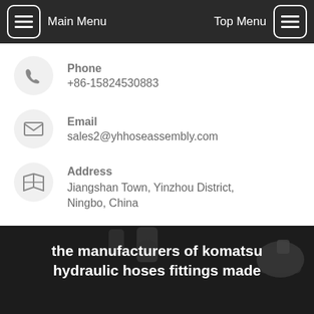Main Menu   Top Menu
Phone
+86-15824530883
Email
sales2@yhhoseassembly.com
Address
Jiangshan Town, Yinzhou District, Ningbo, China
the manufacturers of komatsu hydraulic hoses fittings made
Home / the manufacturers of komatsu hydraulic hoses fittings made